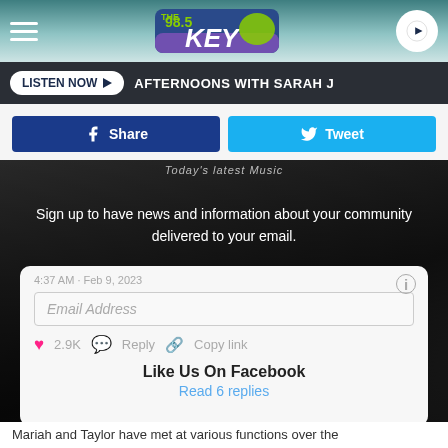The 98.5 KEY - AFTERNOONS WITH SARAH J
LISTEN NOW ▶  AFTERNOONS WITH SARAH J
Share   Tweet
Sign up to have news and information about your community delivered to your email.
4:37 AM · Feb 9, 2023
Email Address
♥ 2.9K   Reply   Copy link
Like Us On Facebook
Read 6 replies
Mariah and Taylor have met at various functions over the